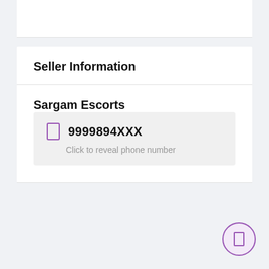Seller Information
Sargam Escorts
9999894XXX
Click to reveal phone number